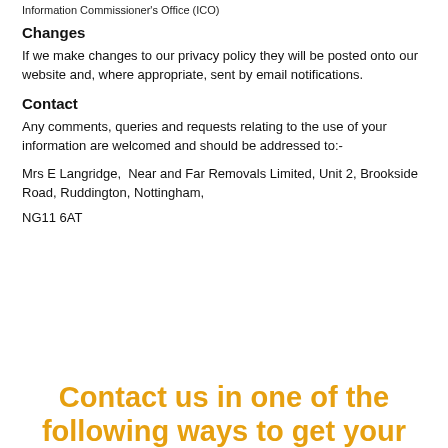Information Commissioner's Office (ICO)
Changes
If we make changes to our privacy policy they will be posted onto our website and, where appropriate, sent by email notifications.
Contact
Any comments, queries and requests relating to the use of your information are welcomed and should be addressed to:-
Mrs E Langridge,  Near and Far Removals Limited, Unit 2, Brookside Road, Ruddington, Nottingham,
NG11 6AT
Contact us in one of the following ways to get your